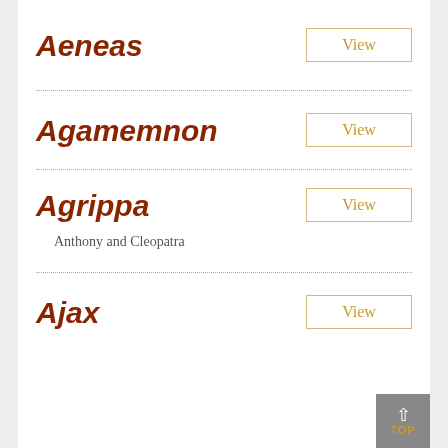Aeneas
Agamemnon
Agrippa
Anthony and Cleopatra
Ajax